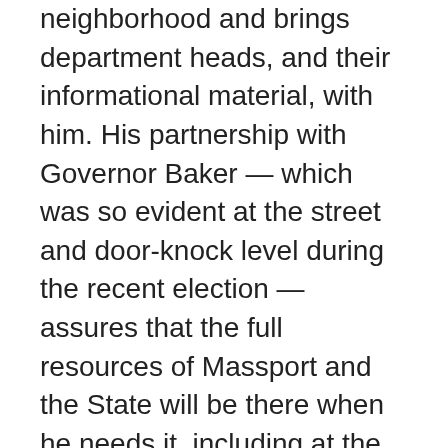neighborhood and brings department heads, and their informational material, with him. His partnership with Governor Baker — which was so evident at the street and door-knock level during the recent election — assures that the full resources of Massport and the State will be there when he needs it, including at the many public hearings and community meetings Walsh is mart to hold all over Boston.
I am thus reasonably optimistic that Walsh will do the best that he can; that he will mobilize a more or less united City to pursue his City goals with reasonable confidence. That's probably all that we can ask. Mayor Walsh does not make the economy, and he cannot do much to curb the huge building boom — not that he wants to. Middle class housing will